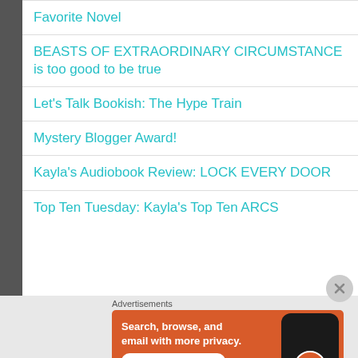Favorite Novel
BEASTS OF EXTRAORDINARY CIRCUMSTANCE is too good to be true
Let's Talk Bookish: The Hype Train
Mystery Blogger Award!
Kayla's Audiobook Review: LOCK EVERY DOOR
Top Ten Tuesday: Kayla's Top Ten ARCS
Advertisements
[Figure (screenshot): DuckDuckGo advertisement banner: orange background with text 'Search, browse, and email with more privacy. All in One Free App' and DuckDuckGo logo on a phone mockup.]